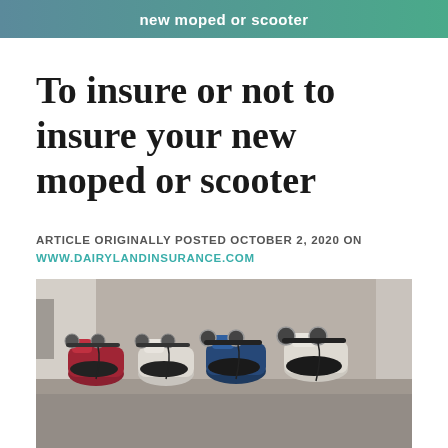new moped or scooter
To insure or not to insure your new moped or scooter
ARTICLE ORIGINALLY POSTED OCTOBER 2, 2020 ON WWW.DAIRYLANDINSURANCE.COM
[Figure (photo): Row of mopeds/scooters parked side by side, viewed from above and slightly to the side, showing handlebars, mirrors, and seats in red, blue, and white colors]